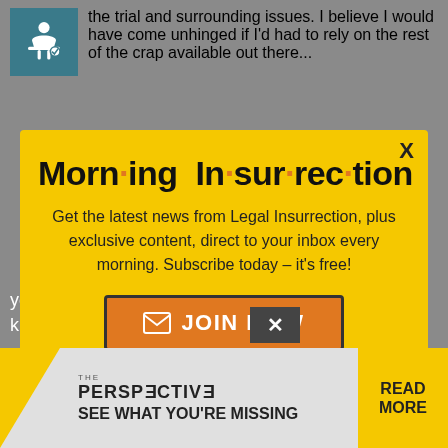the trial and surrounding issues. I believe I would have come unhinged if I'd had to rely on the rest of the crap available out there...
[Figure (screenshot): Modal popup advertisement for Morning Insurrection newsletter with yellow background, large bold title 'Morning Insurrection' with orange bullet dots, subtitle text 'Get the latest news from Legal Insurrection, plus exclusive content, direct to your inbox every morning. Subscribe today – it's free!', and an orange 'JOIN NOW' button with envelope icon. X close button in top right corner.]
you're a military history buff. That was kind of in the middle of everything...
[Figure (screenshot): Bottom advertisement banner for 'The Perspective' publication showing 'SEE WHAT YOU'RE MISSING' with a READ MORE button on yellow background.]